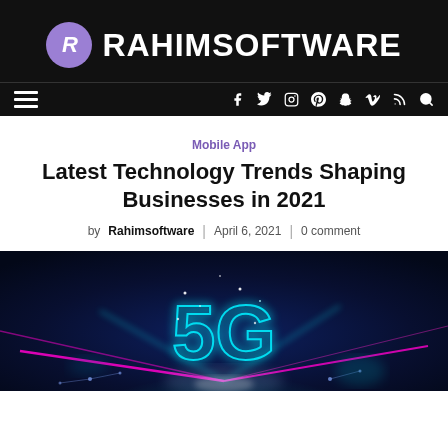RAHIMSOFTWARE
Mobile App
Latest Technology Trends Shaping Businesses in 2021
by Rahimsoftware | April 6, 2021 | 0 comment
[Figure (photo): 5G glowing text with neon lights on dark blue background representing 5G technology]